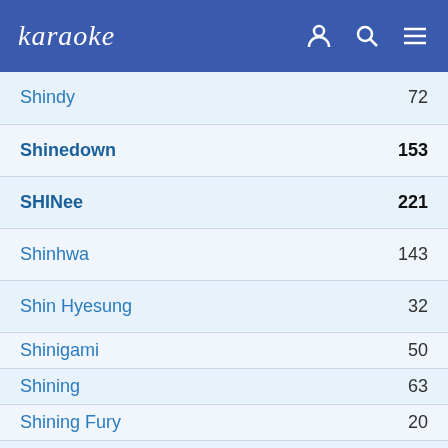karaoke
| Artist | Count |
| --- | --- |
| Shindy | 72 |
| Shinedown | 153 |
| SHINee | 221 |
| Shinhwa | 143 |
| Shin Hyesung | 32 |
| Shinigami | 50 |
| Shining | 63 |
| Shining Fury | 20 |
| Shining (NOR) | 68 |
| Shin Ji Hoon | 4 |
| Shins,The | 12 |
| Shiny Toy Guns | 31 |